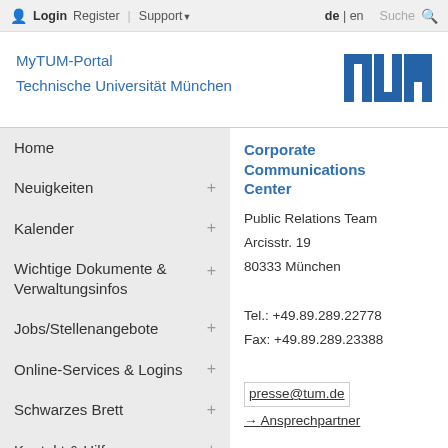Login  Register  | Support  de | en  Suche
MyTUM-Portal
Technische Universität München
[Figure (logo): TUM logo — three vertical rectangles with cross-bars forming the letters TUM in blue]
Home
Neuigkeiten +
Kalender +
Wichtige Dokumente & Verwaltungsinfos +
Jobs/Stellenangebote +
Online-Services & Logins +
Schwarzes Brett +
Kontakt & Hilfe +
Corporate Communications Center
Public Relations Team
Arcisstr. 19
80333 München

Tel.: +49.89.289.22778
Fax: +49.89.289.23388

presse@tum.de

→ Ansprechpartner